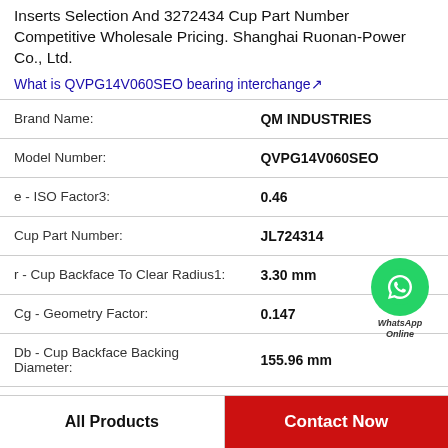Inserts Selection And 3272434 Cup Part Number Competitive Wholesale Pricing. Shanghai Ruonan-Power Co., Ltd.
What is QVPG14V060SEO bearing interchange↗
| Property | Value |
| --- | --- |
| Brand Name: | QM INDUSTRIES |
| Model Number: | QVPG14V060SEO |
| e - ISO Factor3: | 0.46 |
| Cup Part Number: | JL724314 |
| r - Cup Backface To Clear Radius1: | 3.30 mm |
| Cg - Geometry Factor: | 0.147 |
| Db - Cup Backface Backing Diameter: | 155.96 mm |
[Figure (illustration): WhatsApp Online chat button with green phone icon and italic text 'WhatsApp Online']
All Products   Contact Now